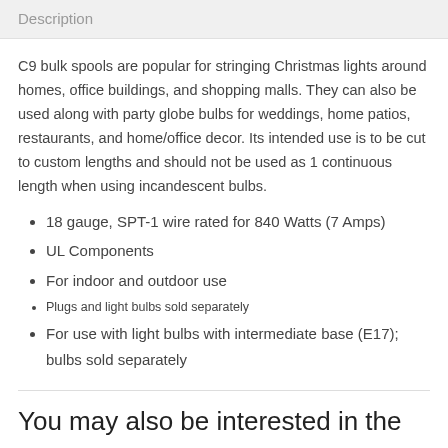Description
C9 bulk spools are popular for stringing Christmas lights around homes, office buildings, and shopping malls. They can also be used along with party globe bulbs for weddings, home patios, restaurants, and home/office decor. Its intended use is to be cut to custom lengths and should not be used as 1 continuous length when using incandescent bulbs.
18 gauge, SPT-1 wire rated for 840 Watts (7 Amps)
UL Components
For indoor and outdoor use
Plugs and light bulbs sold separately
For use with light bulbs with intermediate base (E17); bulbs sold separately
You may also be interested in the following product(s)